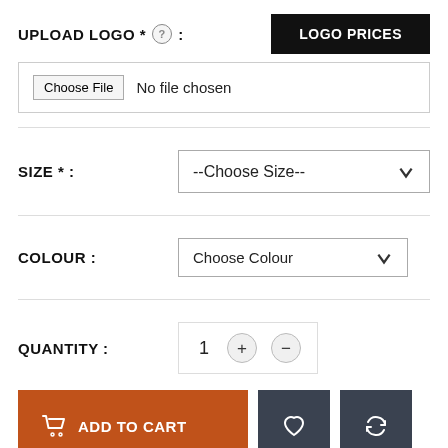UPLOAD LOGO * : LOGO PRICES
Choose File   No file chosen
SIZE * :  --Choose Size--
COLOUR :  Choose Colour
QUANTITY :  1  +  -
ADD TO CART